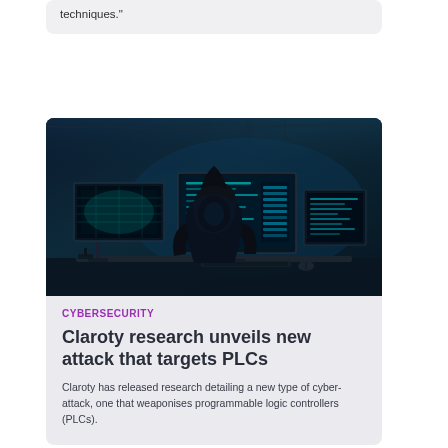techniques."
[Figure (photo): Silhouette of a hooded hacker figure sitting at a desk with multiple glowing computer monitors showing data/maps, in a dark blue-tinted room.]
CYBERSECURITY
Claroty research unveils new attack that targets PLCs
Claroty has released research detailing a new type of cyber-attack, one that weaponises programmable logic controllers (PLCs).